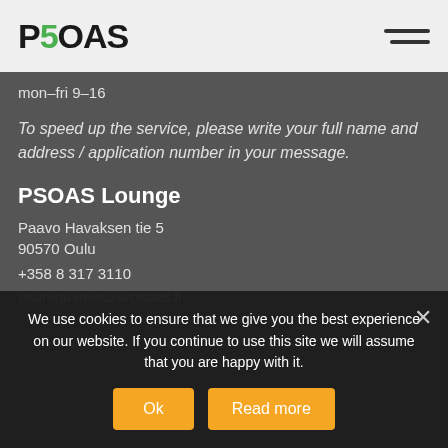P50AS
mon–fri 9–16
To speed up the service, please write your full name and address / application number in your message.
PSOAS Lounge
Paavo Havaksen tie 5
90570 Oulu
+358 8 317 3110
asuntotoimisto@psoas.fi
We use cookies to ensure that we give you the best experience on our website. If you continue to use this site we will assume that you are happy with it.
mon–fri 9–16